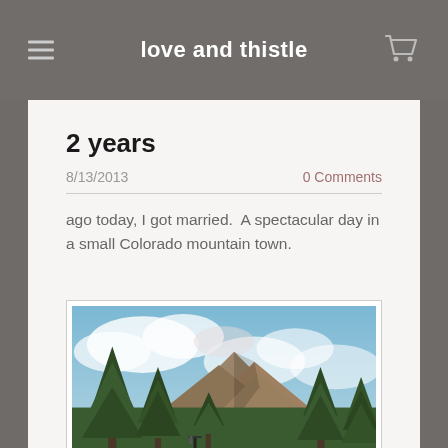love and thistle
2 years
8/13/2013
0 Comments
ago today, I got married.  A spectacular day in a small Colorado mountain town.
[Figure (photo): Mountain landscape with tall pine trees in foreground, rocky mountain peaks in middle ground, and partly cloudy blue sky. A Colorado mountain town setting.]